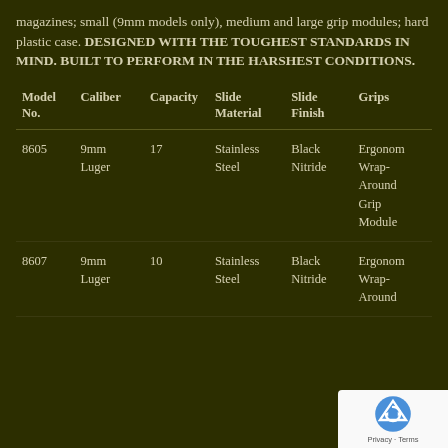magazines; small (9mm models only), medium and large grip modules; hard plastic case. DESIGNED WITH THE TOUGHEST STANDARDS IN MIND. BUILT TO PERFORM IN THE HARSHEST CONDITIONS.
| Model No. | Caliber | Capacity | Slide Material | Slide Finish | Grips |
| --- | --- | --- | --- | --- | --- |
| 8605 | 9mm Luger | 17 | Stainless Steel | Black Nitride | Ergonomic Wrap-Around Grip Module |
| 8607 | 9mm Luger | 10 | Stainless Steel | Black Nitride | Ergonomic Wrap-Around Grip Module |